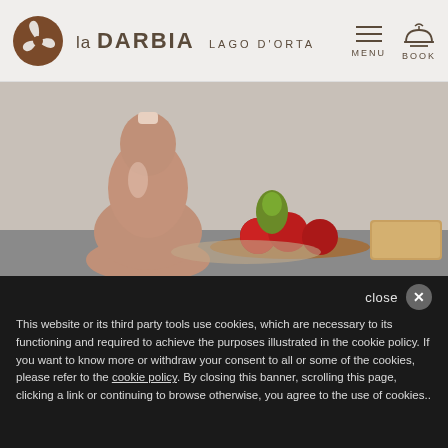la DARBIA LAGO D'ORTA — MENU BOOK
[Figure (photo): A still-life photo of a pink ceramic gourd-shaped vase, several red apples and a green pear arranged on a wooden tray, and a cork box on a grey surface against a light grey wall.]
This website or its third party tools use cookies, which are necessary to its functioning and required to achieve the purposes illustrated in the cookie policy. If you want to know more or withdraw your consent to all or some of the cookies, please refer to the cookie policy. By closing this banner, scrolling this page, clicking a link or continuing to browse otherwise, you agree to the use of cookies..